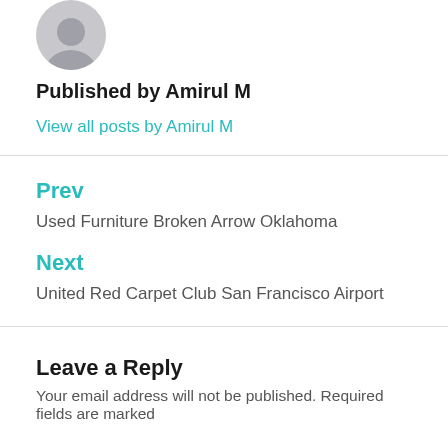[Figure (illustration): Gray circular avatar/profile picture placeholder with a generic person silhouette]
Published by Amirul M
View all posts by Amirul M
Prev
Used Furniture Broken Arrow Oklahoma
Next
United Red Carpet Club San Francisco Airport
Leave a Reply
Your email address will not be published. Required fields are marked